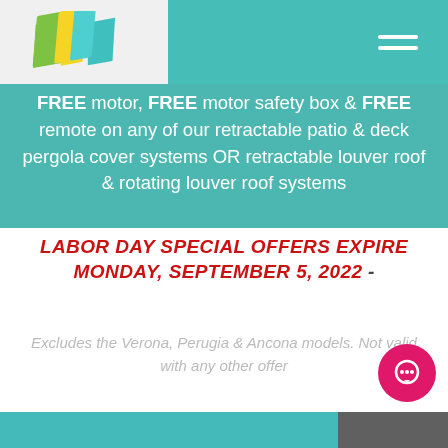[Figure (screenshot): Website header banner with teal background, company logo (colored diagonal stripes), hamburger menu icon, and promotional text in white]
FREE motor, FREE motor safety box & FREE remote on any of our retractable patio & deck pergola cover systems OR retractable louver roof & rotating louver roof systems
LABOR DAY SPECIAL OFFERS EXPIRE MONDAY, SEPTEMBER 5, 2022 -
Excludes the Verona, Perugia & Ancona models. Not valid with any other offer
[Figure (photo): Partial bottom image showing teal/aqua outdoor area and dark structure on the right]